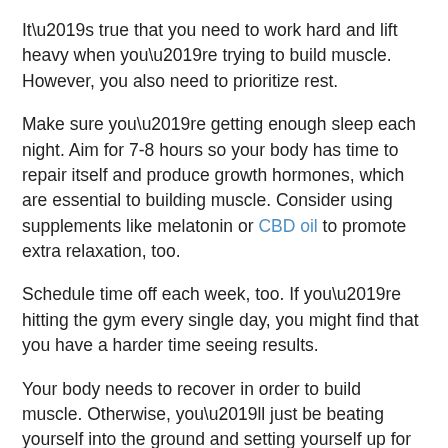It’s true that you need to work hard and lift heavy when you’re trying to build muscle. However, you also need to prioritize rest.
Make sure you’re getting enough sleep each night. Aim for 7-8 hours so your body has time to repair itself and produce growth hormones, which are essential to building muscle. Consider using supplements like melatonin or CBD oil to promote extra relaxation, too.
Schedule time off each week, too. If you’re hitting the gym every single day, you might find that you have a harder time seeing results.
Your body needs to recover in order to build muscle. Otherwise, you’ll just be beating yourself into the ground and setting yourself up for burnout.